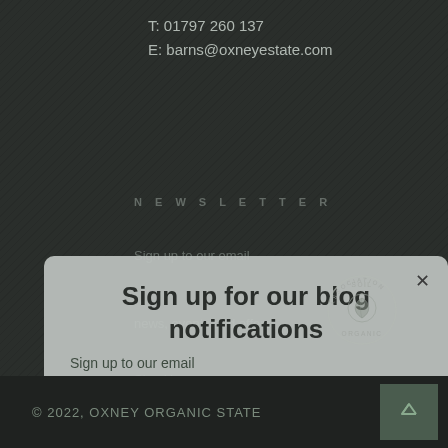T: 01797 260 137
E: barns@oxneyestate.com
[Figure (screenshot): Modal popup dialog with 'Sign up for our blog notifications' heading, body text about wine experts blogging, a Sign Up ghost button, and a dark green 'Subscribe now' button. A Soil Association organic certification logo appears in the top right of the modal. Behind the modal, faint newsletter signup text is visible.]
© 2022, OXNEY ORGANIC STATE